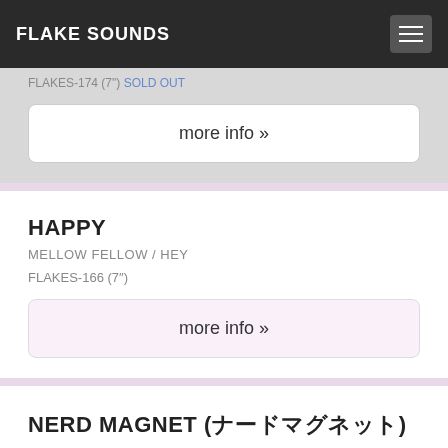FLAKE SOUNDS
FLAKES-174 (7") SOLD OUT
more info »
HAPPY
MELLOW FELLOW / HEY
FLAKES-166 (7")
more info »
NERD MAGNET (ナードマグネット)
CRAZY, STUPID, LOVE
FLAKES-165 (LP)
more info »